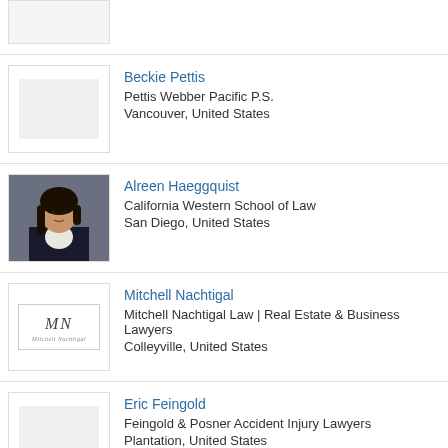[Figure (photo): Partial profile photo placeholder at top of page (cropped entry)]
Beckie Pettis
Pettis Webber Pacific P.S.
Vancouver, United States
Alreen Haeggquist
California Western School of Law
San Diego, United States
[Figure (photo): Professional headshot of Alreen Haeggquist, woman with dark hair in business attire]
Mitchell Nachtigal
Mitchell Nachtigal Law | Real Estate & Business Lawyers
Colleyville, United States
[Figure (logo): MN logo/signature for Mitchell Nachtigal Law]
Eric Feingold
Feingold & Posner Accident Injury Lawyers
Plantation, United States
Riah Greathouse
Greathouse Trial Law, LLC
Columbus, Georgia, United States, United States